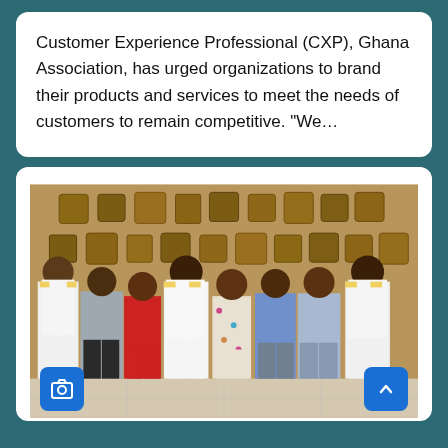Customer Experience Professional (CXP), Ghana Association, has urged organizations to brand their products and services to meet the needs of customers to remain competitive. “We…
[Figure (photo): Group photo of eight people standing in a room with plaques and shields on a wooden wall in the background. Two people on the far left and far right are wearing white naval uniforms. The others are in civilian attire including a woman in a red dress and a woman in a floral dress.]